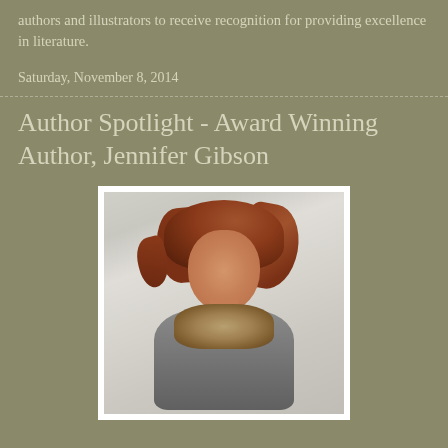authors and illustrators to receive recognition for providing excellence in literature.
Saturday, November 8, 2014
Author Spotlight - Award Winning Author, Jennifer Gibson
[Figure (photo): Portrait photo of Jennifer Gibson, a woman with reddish-brown layered hair, smiling, wearing a grey jacket with fur collar, against a light grey background.]